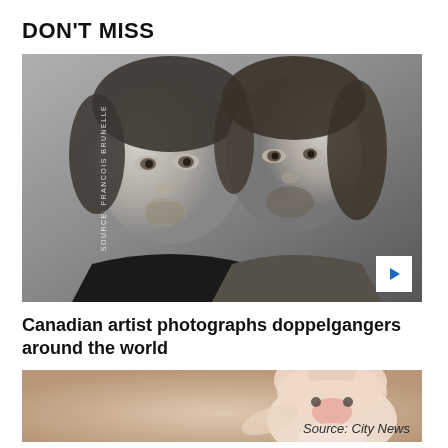DON'T MISS
[Figure (photo): Black and white portrait photo of two men who look very similar (doppelgangers), both with medium-length brown hair and slight beards, looking at the camera with similar expressions. Watermark reads SOURCE: FRANCOIS BRUNELLE. A play button triangle is visible at bottom right.]
Canadian artist photographs doppelgangers around the world
[Figure (photo): Partial view of a baby or child wearing a pink/cream animal-themed hat. Source label reads: Source: City News]